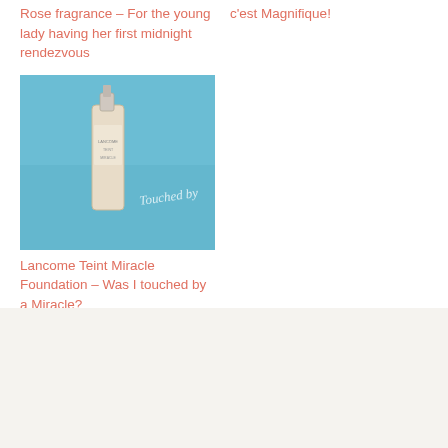Rose fragrance – For the young lady having her first midnight rendezvous
c'est Magnifique!
[Figure (photo): Product photo of Lancome Teint Miracle Foundation bottle on blue background with text 'Touched by']
Lancome Teint Miracle Foundation – Was I touched by a Miracle?
About Paris B
[Figure (photo): Portrait photo of Paris B, an Asian woman with short hair wearing a colorful floral top]
Paris B is a 40-something beauty and skincare enthusiast with a practical and very critical view of beauty products